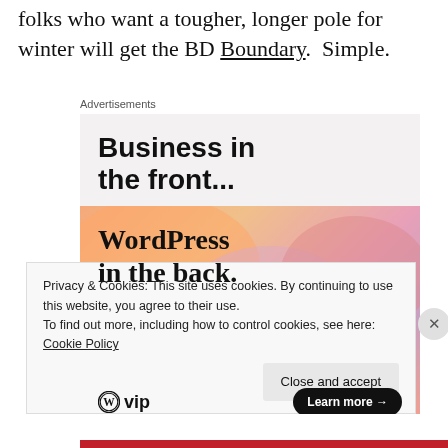folks who want a tougher, longer pole for winter will get the BD Boundary.  Simple.
Advertisements
[Figure (illustration): WordPress VIP advertisement with two sections: top section on light grey background with bold black text 'Business in the front...', bottom section with colorful gradient blob background and serif bold text 'WordPress in the back.' with WordPress VIP logo and 'Learn more →' button.]
Privacy & Cookies: This site uses cookies. By continuing to use this website, you agree to their use.
To find out more, including how to control cookies, see here: Cookie Policy
Close and accept